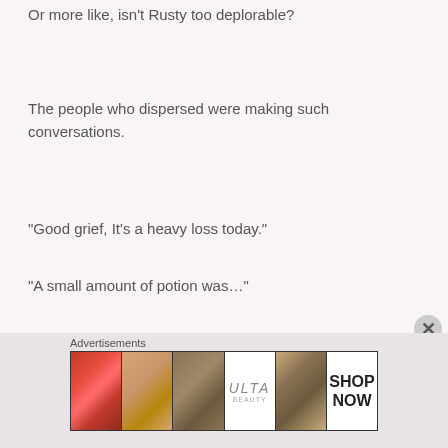Or more like, isn't Rusty too deplorable?
The people who dispersed were making such conversations.
“Good grief, It’s a heavy loss today.”
“A small amount of potion was…”
Hey, wait a second.
[Figure (other): Ulta Beauty advertisement banner showing beauty/makeup imagery including lips, brush, eye, Ulta logo, eyes, and SHOP NOW text]
Advertisements